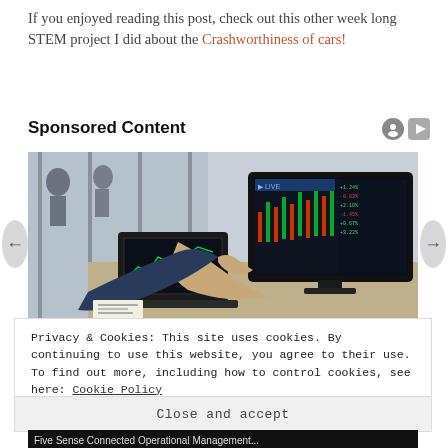If you enjoyed reading this post, check out this other week long STEM project I did about the Crashworthiness of cars!
Sponsored Content
[Figure (photo): A person in a business suit pointing at financial charts on a large monitor, with a laptop open in front of them in an office setting.]
Privacy & Cookies: This site uses cookies. By continuing to use this website, you agree to their use.
To find out more, including how to control cookies, see here: Cookie Policy
Close and accept